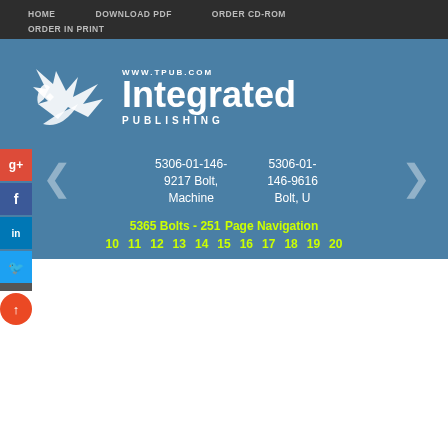HOME   DOWNLOAD PDF   ORDER CD-ROM   ORDER IN PRINT
[Figure (logo): Integrated Publishing logo with stylized bird/arrow graphic, URL www.tpub.com, and text 'Integrated PUBLISHING' on blue background]
5306-01-146-9217 Bolt, Machine
5306-01-146-9616 Bolt, U
5365 Bolts - 251 Page Navigation
10  11  12  13  14  15  16  17  18  19  20